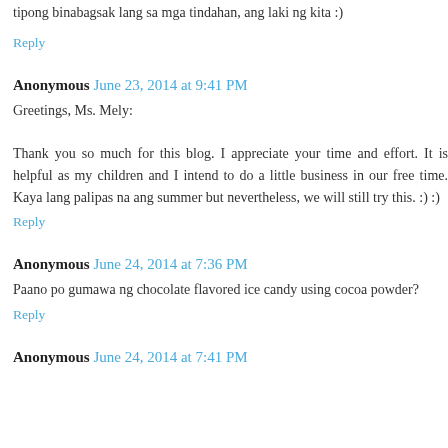tipong binabagsak lang sa mga tindahan, ang laki ng kita :)
Reply
Anonymous June 23, 2014 at 9:41 PM
Greetings, Ms. Mely:

Thank you so much for this blog. I appreciate your time and effort. It is helpful as my children and I intend to do a little business in our free time. Kaya lang palipas na ang summer but nevertheless, we will still try this. :) :)
Reply
Anonymous June 24, 2014 at 7:36 PM
Paano po gumawa ng chocolate flavored ice candy using cocoa powder?
Reply
Anonymous June 24, 2014 at 7:41 PM